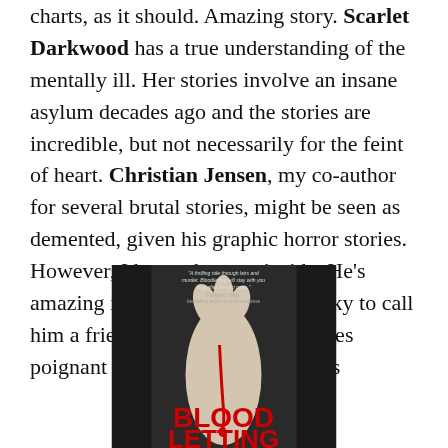charts, as it should. Amazing story. Scarlet Darkwood has a true understanding of the mentally ill. Her stories involve an insane asylum decades ago and the stories are incredible, but not necessarily for the feint of heart. Christian Jensen, my co-author for several brutal stories, might be seen as demented, given his graphic horror stories. However, I know the man inside. He's amazing in his gifts and I'm so lucky to call him a friend. Margie Church writes poignant m/f as well as m/m pieces
[Figure (illustration): Book cover for 'Bloodletting' showing a dark, dramatic image of a hand with blood dripping, with the title 'BLOOD LETTING' in red text at the bottom and a review quote at the top reading 'A thrilling ride through lairs and murder. Bloodletting will stay with you long after the last page.' - Patricia D. Eddy, bestselling author of erotic suspense]